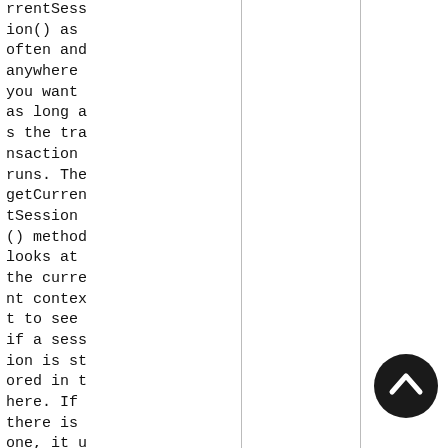rrentSession() as often and anywhere you want as long as the transaction runs. The getCurrentSession() method looks at the current context to see if a session is stored in there. If there is one, it uses it, and if there re isn't
[Figure (illustration): A dark circular button with an upward-pointing chevron/arrow icon in white, used as a 'scroll to top' or navigation button.]